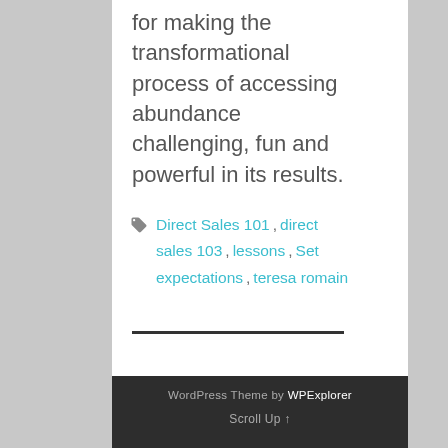for making the transformational process of accessing abundance challenging, fun and powerful in its results.
Direct Sales 101 , direct sales 103 , lessons , Set expectations , teresa romain
WordPress Theme by WPExplorer
Scroll Up ↑